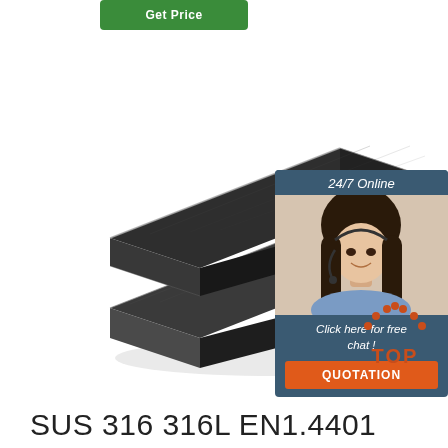[Figure (other): Green 'Get Price' button at top]
[Figure (photo): Two dark/black stainless steel flat bars photographed at an angle, showing their rectangular cross-section and textured surface]
[Figure (infographic): 24/7 Online chat box overlay with a female customer service representative wearing a headset, 'Click here for free chat!' text, and an orange QUOTATION button]
[Figure (logo): Orange/red 'TOP' badge with dots arranged in an arc above the word TOP]
SUS 316 316L EN1.4401